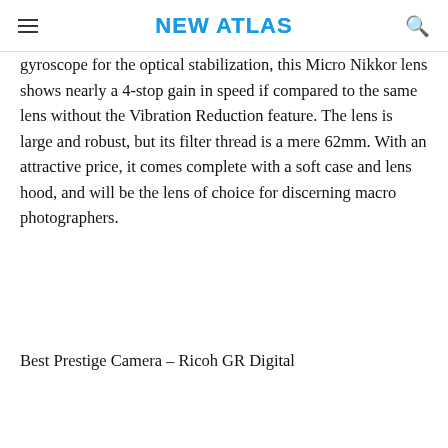NEW ATLAS
gyroscope for the optical stabilization, this Micro Nikkor lens shows nearly a 4-stop gain in speed if compared to the same lens without the Vibration Reduction feature. The lens is large and robust, but its filter thread is a mere 62mm. With an attractive price, it comes complete with a soft case and lens hood, and will be the lens of choice for discerning macro photographers.
Best Prestige Camera – Ricoh GR Digital